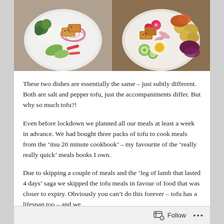[Figure (photo): Two food photos side by side: left shows a white bowl with salt and pepper tofu, broccoli, red onion, peppers, and rice; right shows a white bowl with salt and pepper tofu, radishes, cucumber, boiled egg, baby potatoes, and red cabbage.]
These two dishes are essentially the same – just subtly different. Both are salt and pepper tofu, just the accompaniments differ. But why so much tofu?!
Even before lockdown we planned all our meals at least a week in advance. We had bought three packs of tofu to cook meals from the ‘itsu 20 minute cookbook’ – my favourite of the ‘really really quick’ meals books I own.
Due to skipping a couple of meals and the ‘leg of lamb that lasted 4 days’ saga we skipped the tofu meals in favour of food that was closer to expiry. Obviously you can’t do this forever – tofu has a lifespan too – and we
Follow ...